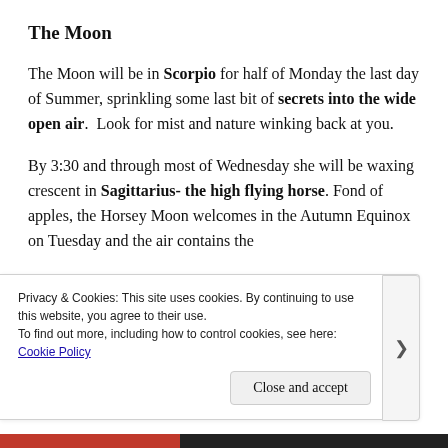The Moon
The Moon will be in Scorpio for half of Monday the last day of Summer, sprinkling some last bit of secrets into the wide open air.  Look for mist and nature winking back at you.
By 3:30 and through most of Wednesday she will be waxing crescent in Sagittarius- the high flying horse. Fond of apples, the Horsey Moon welcomes in the Autumn Equinox on Tuesday and the air contains the
Privacy & Cookies: This site uses cookies. By continuing to use this website, you agree to their use.
To find out more, including how to control cookies, see here:
Cookie Policy
Close and accept